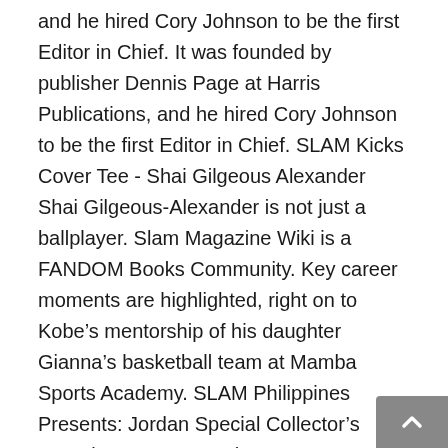and he hired Cory Johnson to be the first Editor in Chief. It was founded by publisher Dennis Page at Harris Publications, and he hired Cory Johnson to be the first Editor in Chief. SLAM Kicks Cover Tee - Shai Gilgeous Alexander Shai Gilgeous-Alexander is not just a ballplayer. Slam Magazine Wiki is a FANDOM Books Community. Key career moments are highlighted, right on to Kobe's mentorship of his daughter Gianna's basketball team at Mamba Sports Academy. SLAM Philippines Presents: Jordan Special Collector's Issue is out now! October 11, 2018 10:47 am. The Magazine WNBA Finals MVP Breanna Stewart Covers SLAM 229. For covers 101-200, go here For covers 201-300, go here See also: Covers by Release Year Apr 4, 2016 - In our over 20 years of existence we've published 196 issues of SLAM. “If you’d have asked me in high school would I ever be on a SLAM cover, I probably